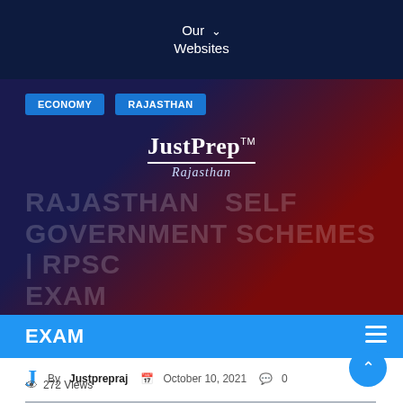Our Websites
ECONOMY   RAJASTHAN
[Figure (logo): JustPrep TM logo with Rajasthan subtitle and underline]
RAJASTHAN SELF GOVERNMENT SCHEMES | RPSC EXAM
By Justprepraj  October 10, 2021  0
272 Views